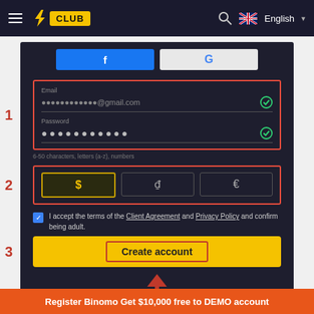≡ ⚡ CLUB  🔍 🇬🇧 English ▾
[Figure (screenshot): Binomo registration form screenshot showing: social login buttons (Facebook, Google), Step 1 - Email field with redacted email ending in @gmail.com and green checkmark, Password field with dots and green checkmark, Step 2 - Currency selector with $ (selected/highlighted in gold), d, and € options, checkbox accepting Client Agreement and Privacy Policy, Step 3 - yellow Create account button with red border highlight, and Sign in link below with red arrow pointing up to the Create account button.]
Register Binomo Get $10,000 free to DEMO account